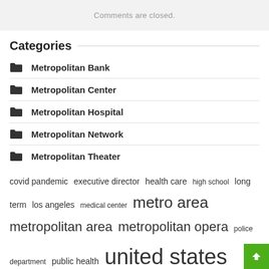Comments are closed.
Categories
Metropolitan Bank
Metropolitan Center
Metropolitan Hospital
Metropolitan Network
Metropolitan Theater
covid pandemic  executive director  health care  high school  long term  los angeles  medical center  metro area  metropolitan area  metropolitan opera  police department  public health  united states